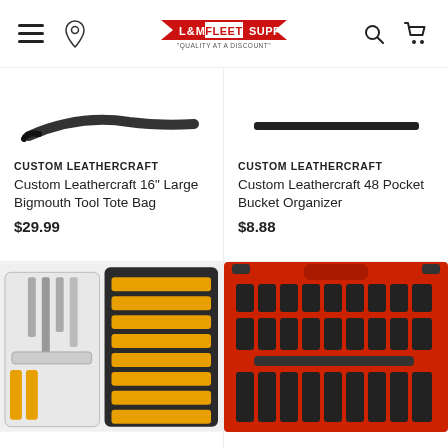L&M Fleet Supply — Quality at a Discount
[Figure (photo): Partial image of a pry bar / flat bar tool (top of product card, cropped)]
CUSTOM LEATHERCRAFT
Custom Leathercraft 16" Large Bigmouth Tool Tote Bag
$29.99
[Figure (photo): Partial image of a pry bar / flat crowbar tool (top of product card, cropped)]
CUSTOM LEATHERCRAFT
Custom Leathercraft 48 Pocket Bucket Organizer
$8.88
[Figure (photo): DeWalt screwdriver bit set in yellow and black case]
[Figure (photo): Red socket set case with black impact sockets arranged in rows]